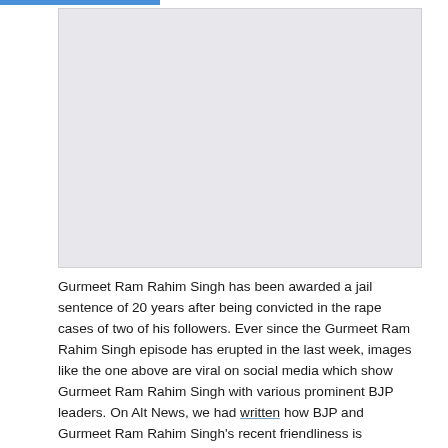[Figure (photo): A light gray placeholder image area representing a photo of Gurmeet Ram Rahim Singh with BJP leaders]
Gurmeet Ram Rahim Singh has been awarded a jail sentence of 20 years after being convicted in the rape cases of two of his followers. Ever since the Gurmeet Ram Rahim Singh episode has erupted in the last week, images like the one above are viral on social media which show Gurmeet Ram Rahim Singh with various prominent BJP leaders. On Alt News, we had written how BJP and Gurmeet Ram Rahim Singh's recent friendliness is undeniable. The same article also detailed how Congress has previously tried to cozy up to Dera Sacha Sauda in 2007 and 2012. The recent administrative failures on the day courts announced the verdict in the Gurmeet Ram